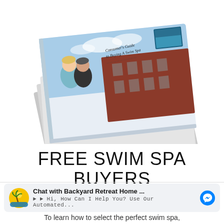[Figure (illustration): Stack of physical books/guides tilted at an angle. The top book shows a cover with blue sky and a couple in front of a red brick building, with text 'Consumer's Guide to Buying A Swim Spa'. Multiple copies of the same book are fanned out beneath it.]
FREE SWIM SPA BUYERS
Chat with Backyard Retreat Home ... ► ► Hi, How Can I Help You? Use Our Automated...
To learn how to select the perfect swim spa,